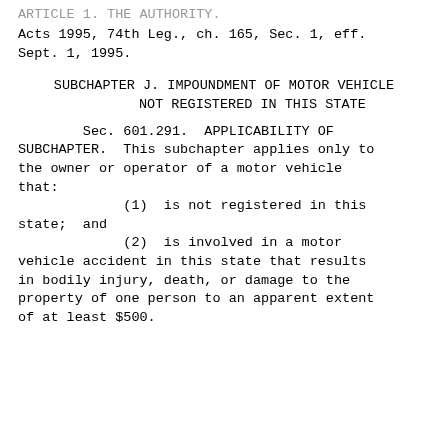ARTICLE 1. THE AUTHORITY.
Acts 1995, 74th Leg., ch. 165, Sec. 1, eff.
Sept. 1, 1995.
SUBCHAPTER J. IMPOUNDMENT OF MOTOR VEHICLE
        NOT REGISTERED IN THIS STATE
Sec. 601.291.  APPLICABILITY OF
SUBCHAPTER.  This subchapter applies only to
the owner or operator of a motor vehicle
that:
(1)  is not registered in this
state;  and
(2)  is involved in a motor
vehicle accident in this state that results
in bodily injury, death, or damage to the
property of one person to an apparent extent
of at least $500.